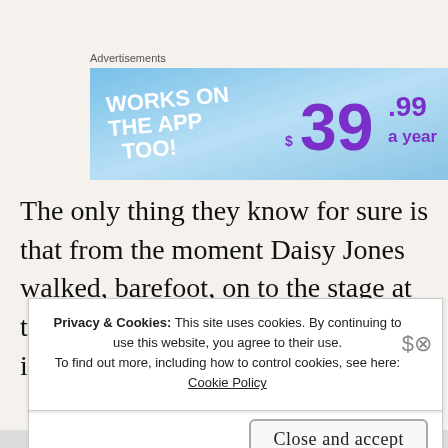Advertisements
[Figure (screenshot): Advertisement banner showing 'WORKS ON THE APP TOO!' on the left in white bold text on a blue gradient background, and '$39.99 a year' on the right in purple bold text.]
The only thing they know for sure is that from the moment Daisy Jones walked, barefoot, on to the stage at the Whisky, the band were irrevocably
Privacy & Cookies: This site uses cookies. By continuing to use this website, you agree to their use.
To find out more, including how to control cookies, see here:
Cookie Policy
Close and accept